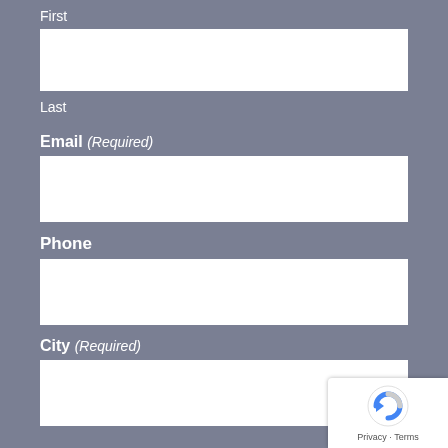First
[Figure (other): White input field box for First name]
Last
Email (Required)
[Figure (other): White input field box for Email]
Phone
[Figure (other): White input field box for Phone]
City (Required)
[Figure (other): White input field box for City]
[Figure (logo): reCAPTCHA badge with Privacy and Terms text]